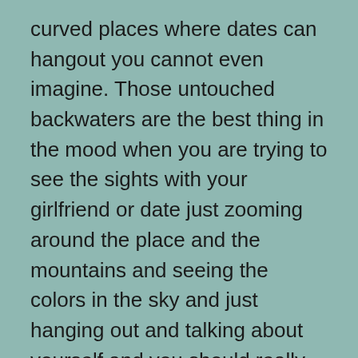curved places where dates can hangout you cannot even imagine. Those untouched backwaters are the best thing in the mood when you are trying to see the sights with your girlfriend or date just zooming around the place and the mountains and seeing the colors in the sky and just hanging out and talking about yourself and you should really be amazed at how many opportunities those natural theme parks hold and how much you can really get out of that and you can really get a true real touch of the wild.

You can really say your heart out to your date